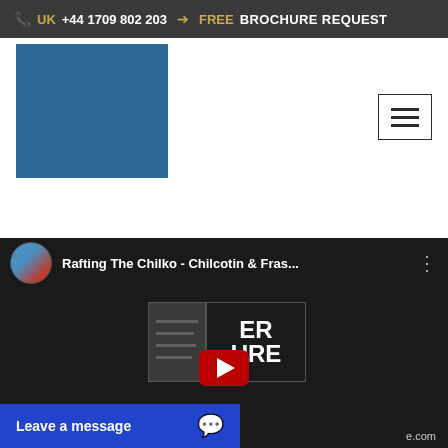UK +44 1709 802 203 ➔ FREE BROCHURE REQUEST
[Figure (logo): Blue square logo placeholder for adventure/rafting company]
[Figure (other): Hamburger menu icon (three horizontal lines)]
[Figure (screenshot): YouTube video embed: Rafting The Chilko - Chilcotin & Fras... with channel avatar, title, menu dots, and video thumbnail showing play button and partial logo text 'ER / URE' with watermark 'e.com']
Leave a message